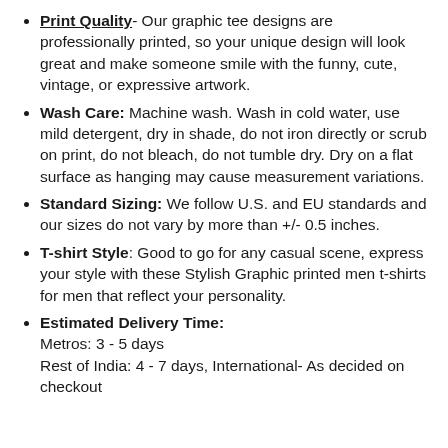Print Quality- Our graphic tee designs are professionally printed, so your unique design will look great and make someone smile with the funny, cute, vintage, or expressive artwork.
Wash Care: Machine wash. Wash in cold water, use mild detergent, dry in shade, do not iron directly or scrub on print, do not bleach, do not tumble dry. Dry on a flat surface as hanging may cause measurement variations.
Standard Sizing: We follow U.S. and EU standards and our sizes do not vary by more than +/- 0.5 inches.
T-shirt Style: Good to go for any casual scene, express your style with these Stylish Graphic printed men t-shirts for men that reflect your personality.
Estimated Delivery Time: Metros: 3 - 5 days Rest of India: 4 - 7 days, International- As decided on checkout